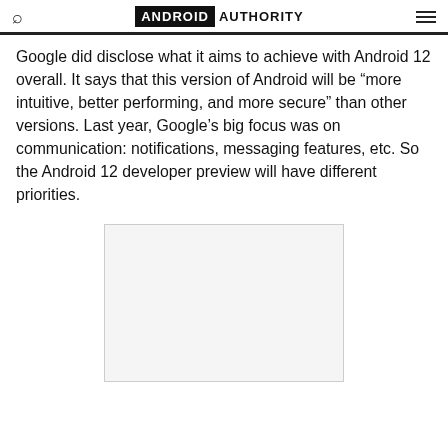ANDROID AUTHORITY
Google did disclose what it aims to achieve with Android 12 overall. It says that this version of Android will be “more intuitive, better performing, and more secure” than other versions. Last year, Google’s big focus was on communication: notifications, messaging features, etc. So the Android 12 developer preview will have different priorities.
[Figure (other): Empty advertisement or image placeholder box]